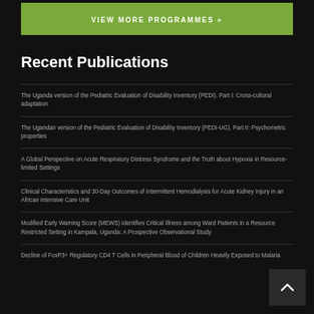VIEW MORE PROGRAMMES »
Recent Publications
The Uganda version of the Pediatric Evaluation of Disability Inventory (PEDI). Part I: Cross-cultural adaptation
The Ugandan version of the Pediatric Evaluation of Disability Inventory (PEDI-UG). Part II: Psychometric properties
A Global Perspective on Acute Respiratory Distress Syndrome and the Truth about Hypoxia in Resource-limited Settings
Clinical Characteristics and 30-Day Outcomes of Intermittent Hemodialysis for Acute Kidney Injury in an African Intensive Care Unit
Modified Early Warning Score (MEWS) Identifies Critical Illness among Ward Patients in a Resource Restricted Setting in Kampala, Uganda: A Prospective Observational Study
Decline of FoxP3+ Regulatory CD4 T Cells in Peripheral Blood of Children Heavily Exposed to Malaria